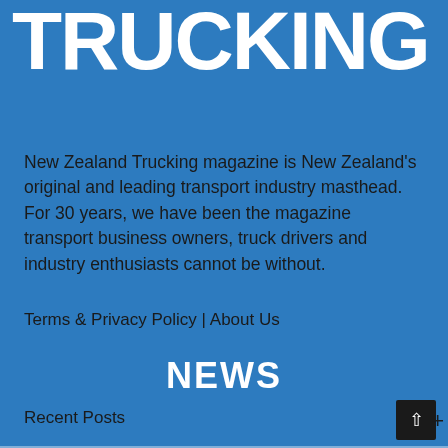TRUCKING
New Zealand Trucking magazine is New Zealand's original and leading transport industry masthead. For 30 years, we have been the magazine transport business owners, truck drivers and industry enthusiasts cannot be without.
Terms & Privacy Policy | About Us
NEWS
Recent Posts